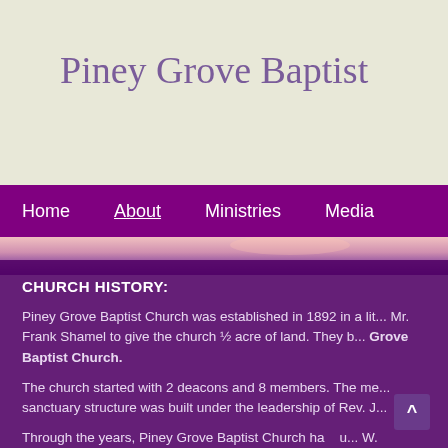Piney Grove Baptist
Home | About | Ministries | Media
[Figure (photo): Sunset sky with purple and pink tones]
CHURCH HISTORY:
Piney Grove Baptist Church was established in 1892 in a lit... Mr. Frank Shamel to give the church ½ acre of land. They b... Grove Baptist Church.
The church started with 2 deacons and 8 members. The me... sanctuary structure was built under the leadership of Rev. J...
Through the years, Piney Grove Baptist Church ha... u... W. Hawkins, J. L. Mumford, Ishman Hurst, Jr. and presently...